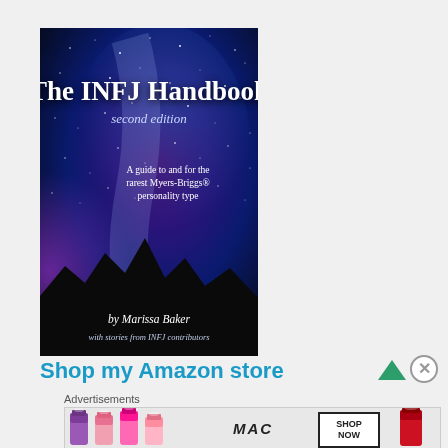[Figure (illustration): Book cover of 'The INFJ Handbook, second edition' by Marissa Baker. Dark starry night sky with Milky Way galaxy visible, purple and blue hues, silhouette of mountains at bottom. Text reads: 'The INFJ Handbook second edition', 'A guide to and for the rarest Myers-Briggs® personality type', 'by Marissa Baker', 'with stories from INFJ contributors'.]
Shop my Amazon store
Advertisements
[Figure (screenshot): MAC cosmetics advertisement banner showing lipsticks on the left, MAC logo text in the center, SHOP NOW box, and red lipstick on the right.]